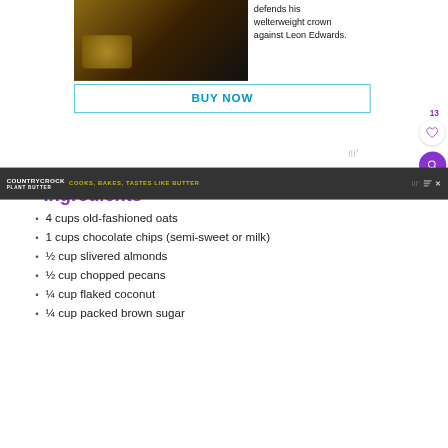[Figure (photo): UFC fighters promotional image showing a champion with a gold belt against a dark background]
defends his welterweight crown against Leon Edwards.
[Figure (other): BUY NOW button with blue border and text]
Ingredients
4 cups old-fashioned oats
1 cups chocolate chips (semi-sweet or milk)
½ cup slivered almonds
½ cup chopped pecans
¼ cup flaked coconut
¼ cup packed brown sugar
[Figure (other): Country Crock Plant Butter advertisement banner at bottom: COOKS, BAKES, TASTES LIKE BUTTER]